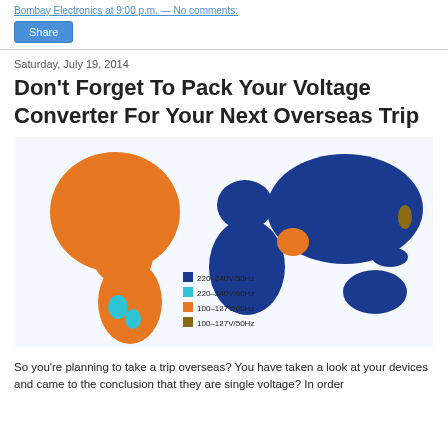Bombay Electronics at 9:00 p.m. — No comments:
Share
Saturday, July 19, 2014
Don't Forget To Pack Your Voltage Converter For Your Next Overseas Trip
[Figure (map): World map showing voltage/frequency zones: 220-240V/50Hz (dark blue, covers Europe, Asia, Africa, Australia), 220-240V/60Hz (cyan, small regions in South America), 100-127V/60Hz (orange, covers North America and most of South America), 100-127V/50Hz (brown, Japan and small areas). Legend shows four color categories.]
So you're planning to take a trip overseas? You have taken a look at your devices and came to the conclusion that they are single voltage? In order